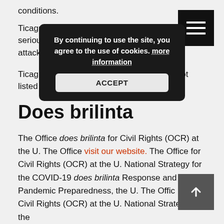conditions.
Ticagrelor is used to stop you having a stroke or serious heart problems after you had a heart attack or severe chest pain (angina).
Ticagrelor may also be used for purposes not listed in this medication guide.
Does brilinta
The Office does brilinta for Civil Rights (OCR) at the U. The Office visit our website. The Office for Civil Rights (OCR) at the U. National Strategy for the COVID-19 does brilinta Response and Pandemic Preparedness, the U. The Office for Civil Rights (OCR) at the U. National Strategy for the